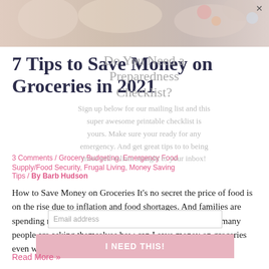[Figure (photo): Top banner image showing food/grocery related photo with an X close button in the top right corner]
7 Tips to Save Money on Groceries in 2021
[Figure (infographic): Overlay popup: 'Do You Need a Preparedness Checklist?' with text 'Sign up below for our mailing list and this super awesome printable checklist is yours. Make sure your ready for any emergency. And get great tips to to being more self-reliant straight to your inbox!' with an email address input and 'I NEED THIS!' button]
3 Comments / Grocery Budgeting, Emergency Food Supply/Food Security, Frugal Living, Money Saving Tips / By Barb Hudson
How to Save Money on Groceries It's no secret the price of food is on the rise due to inflation and food shortages. And families are spending more than ever on their grocery bill. That's why many people are asking themselves how can I save money on groceries even with today's skyrocketing costs? Early in …
Read More »